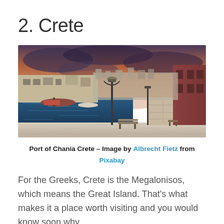2. Crete
[Figure (photo): Panoramic photo of the Port of Chania, Crete, showing a waterfront promenade with a lamp post, a bench, boats on the water, historic buildings along the harbor, and a dramatic cloudy sky at dusk.]
Port of Chania Crete – Image by Albrecht Fietz from Pixabay
For the Greeks, Crete is the Megalonisos, which means the Great Island. That's what makes it a place worth visiting and you would know soon why.
The sunny beaches and sparkling coves go well